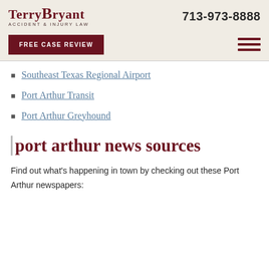TerryBryant ACCIDENT & INJURY LAW | 713-973-8888
Southeast Texas Regional Airport
Port Arthur Transit
Port Arthur Greyhound
port arthur news sources
Find out what's happening in town by checking out these Port Arthur newspapers: